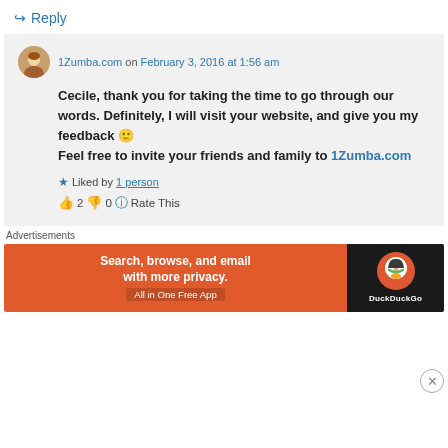↪ Reply
1Zumba.com on February 3, 2016 at 1:56 am
Cecile, thank you for taking the time to go through our words. Definitely, I will visit your website, and give you my feedback 🙂
Feel free to invite your friends and family to 1Zumba.com
★ Liked by 1 person
👍 2 👎 0 ℹ Rate This
Advertisements
[Figure (other): DuckDuckGo advertisement banner: orange background with text 'Search, browse, and email with more privacy.' and 'All in One Free App', with DuckDuckGo logo on dark background on the right]